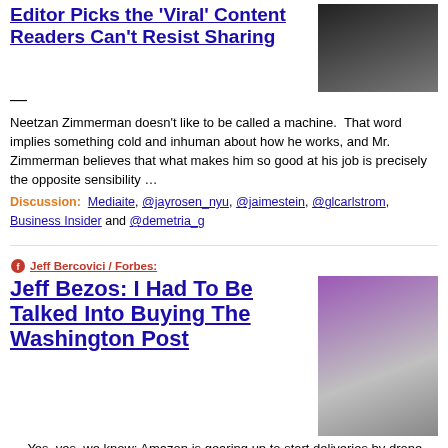Editor Picks the 'Viral' Content Readers Can't Resist Sharing
[Figure (photo): Photo of a man in a black t-shirt]
Neetzan Zimmerman doesn't like to be called a machine.  That word implies something cold and inhuman about how he works, and Mr. Zimmerman believes that what makes him so good at his job is precisely the opposite sensibility …
Discussion:  Mediaite, @jayrosen_nyu, @jaimestein, @glcarlstrom, Business Insider and @demetria_g
Jeff Bercovici / Forbes:
Jeff Bezos: I Had To Be Talked Into Buying The Washington Post
[Figure (photo): Photo of Jeff Bezos speaking on stage with hands raised]
— Yes, yes, we know: Amazon is gearing up to start deliveries by drone.  Very exciting, to be sure.  Among the less headline-grabbing but nevertheless interesting things, Jeff Bezos told Charlie Rose in